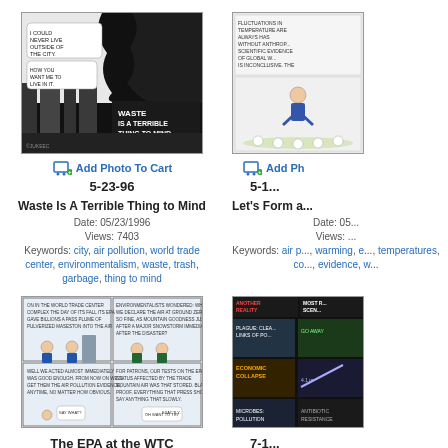[Figure (illustration): Comic strip: city skyline with smoke, text 'WASTE IS A TERRIBLE THING TO MIND.' Speech bubble: 'I COULD NEVER LIVE OUTSIDE OF THE CITY.' Response: 'HOW YOU WANT ME TO LIVE IN IT.']
Add Photo To Cart
5-23-96
Waste Is A Terrible Thing to Mind
Date: 05/23/1996
Views: 7403
Keywords: city, air pollution, world trade center, environmentalism, waste, trash, garbage, thing to mind
[Figure (illustration): Partially visible comic strip about air pollution and the right side of page]
Add Ph...
5-1...
Let's Form a...
Date: 05...
Views: ...
Keywords: air p..., warming, e..., temperatures, co..., evidence, w...
[Figure (illustration): Comic strip: The EPA at the WTC - four panel comic with suited figures discussing air pollution and WTC]
The EPA at the WTC
[Figure (illustration): Partially visible comic strip: Most R... Scen... with colorful panels]
7-1...